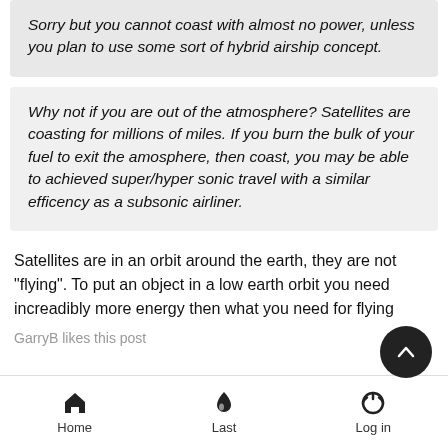Sorry but you cannot coast with almost no power, unless you plan to use some sort of hybrid airship concept.
Why not if you are out of the atmosphere? Satellites are coasting for millions of miles. If you burn the bulk of your fuel to exit the amosphere, then coast, you may be able to achieved super/hyper sonic travel with a similar efficency as a subsonic airliner.
Satellites are in an orbit around the earth, they are not "flying". To put an object in a low earth orbit you need increadibly more energy then what you need for flying
GarryB likes this post
Home  Last  Log in